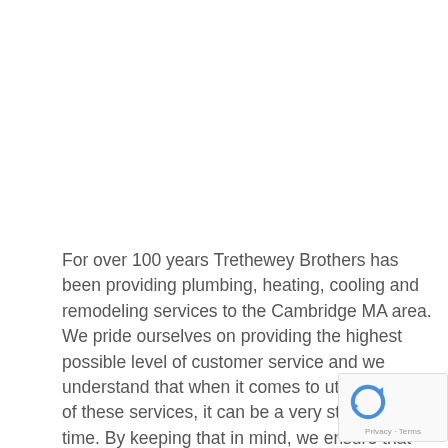For over 100 years Trethewey Brothers has been providing plumbing, heating, cooling and remodeling services to the Cambridge MA area. We pride ourselves on providing the highest possible level of customer service and we understand that when it comes to utilizing one of these services, it can be a very stressful time. By keeping that in mind, we ensure that we complete any and all projects in a timely manner and make the process stress free for you.
[Figure (logo): Google reCAPTCHA badge with spinning arrows logo and Privacy · Terms text]